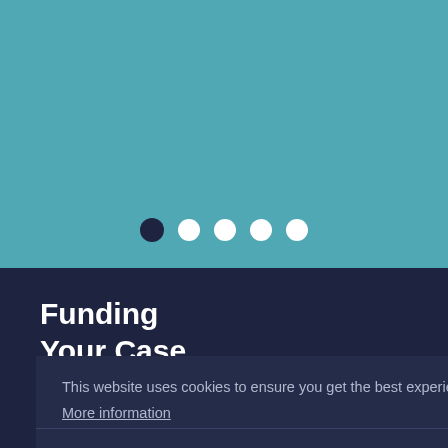[Figure (screenshot): Teal background section with carousel navigation dots (5 dots, first one dark/active)]
Funding
Your Case
Pricing options that suit you.
This website uses cookies to ensure you get the best experience on our website.
More information
Accept & Close
Read More